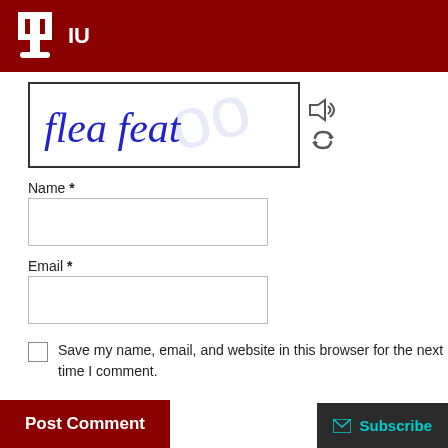IU
[Figure (other): CAPTCHA image showing handwritten text 'flea feat' in blue on white background with a speaker/audio icon and refresh icon to the right]
Name *
[Figure (other): Name text input field (empty)]
Email *
[Figure (other): Email text input field (empty)]
Save my name, email, and website in this browser for the next time I comment.
Post Comment
Subscribe